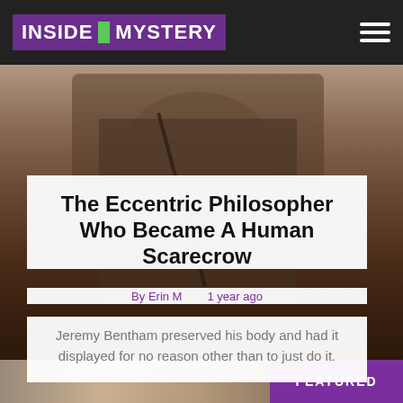INSIDE MYSTERY
[Figure (photo): Sepia-toned photograph of a seated figure, appears to be a historical preserved body or effigy in a chair, with a cane or walking stick]
The Eccentric Philosopher Who Became A Human Scarecrow
By Erin M    1 year ago
Jeremy Bentham preserved his body and had it displayed for no reason other than to just do it.
[Figure (photo): Partial view of a colorized or tinted photograph at the bottom of the page, showing people near a vehicle, with a purple FEATURED badge in the bottom right corner]